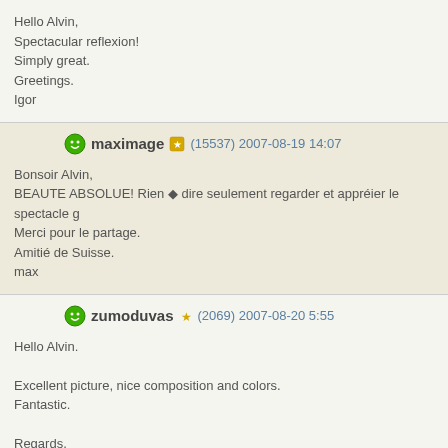Hello Alvin,
Spectacular reflexion!
Simply great.
Greetings.
Igor
maximage (15537) 2007-08-19 14:07
Bonsoir Alvin,
BEAUTE ABSOLUE! Rien ◆ dire seulement regarder et appréier le spectacle g
Merci pour le partage.
Amitié de Suisse.
max
zumoduvas (2069) 2007-08-20 5:55
Hello Alvin.

Excellent picture, nice composition and colors.
Fantastic.

Regards.
Jose Luis.